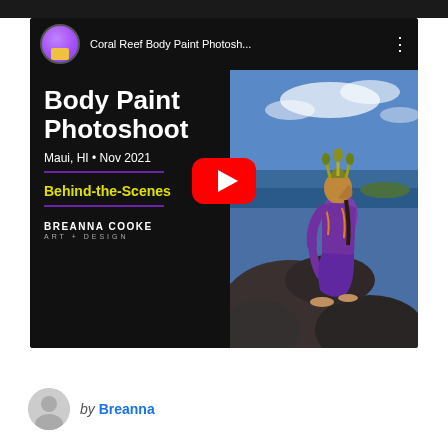[Figure (screenshot): YouTube video thumbnail embed showing 'Coral Reef Body Paint Photosh...' with a split panel: left black background with white bold text 'Body Paint Photoshoot', subtitle 'Maui, HI • Nov 2021', yellow 'Behind-the-Scenes' label, Breanna Cooke Art + Design branding; right panel shows a woman with colorful body paint sitting on rocks by the ocean. A red YouTube play button is centered over the thumbnail. YouTube header shows channel avatar and video title.]
by Breanna